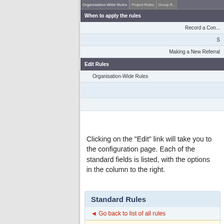[Figure (screenshot): UI table panel showing 'When to apply the rules' section with rows: 'Record a Con...', 'S', 'Making a New Referral'; and 'Edit Rules' section with row 'Organisation-Wide Rules']
Clicking on the "Edit" link will take you to the configuration page. Each of the standard fields is listed, with the options in the column to the right.
Standard Rules
◄ Go back to list of all rules
| Filter through Fields : |
| --- |
|  |